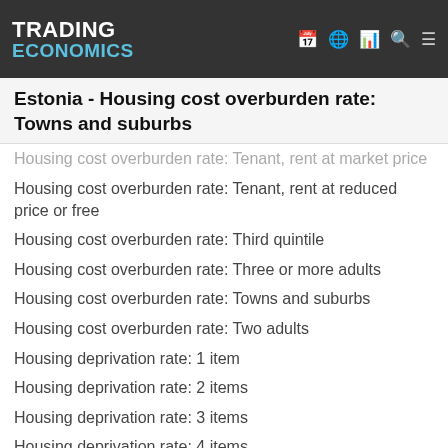TRADING ECONOMICS
Estonia - Housing cost overburden rate: Towns and suburbs
Housing cost overburden rate: Tenant, rent at market price
Housing cost overburden rate: Tenant, rent at reduced price or free
Housing cost overburden rate: Third quintile
Housing cost overburden rate: Three or more adults
Housing cost overburden rate: Towns and suburbs
Housing cost overburden rate: Two adults
Housing deprivation rate: 1 item
Housing deprivation rate: 2 items
Housing deprivation rate: 3 items
Housing deprivation rate: 4 items
Housing deprivation rate: No items
Median of the housing cost burden distribution: 65 years or over
Median of the housing cost burden distribution: Above 60% of median equivalised income
Median of the housing cost burden distribution: Below 60% of median equivalised income